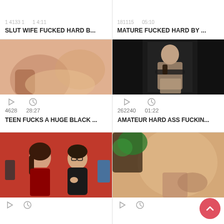SLUT WIFE FUCKED HARD B...
MATURE FUCKED HARD BY ...
[Figure (photo): Close-up skin/body thumbnail]
[Figure (photo): Black and white bondage thumbnail]
4628  28:27
262240  01:22
TEEN FUCKS A HUGE BLACK ...
AMATEUR HARD ASS FUCKIN...
[Figure (photo): Couple sitting on red couch, man with glasses giving thumbs up]
[Figure (photo): Close-up skin/body thumbnail with dark element]
Play and clock icons (bottom row)